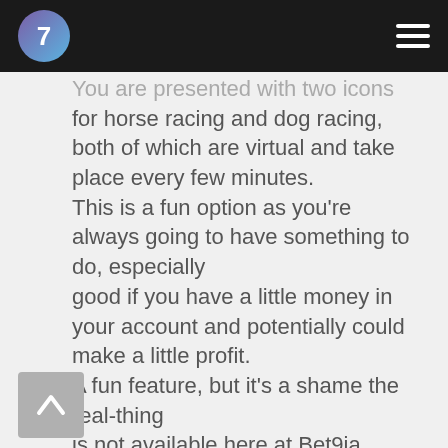7
You are presented with two icons for horse racing and dog racing, both of which are virtual and take place every few minutes. This is a fun option as you're always going to have something to do, especially good if you have a little money in your account and potentially could make a little profit. A fun feature, but it's a shame the real-thing is not available here at Bet9ja.
Bet9ja Live Streaming Sports